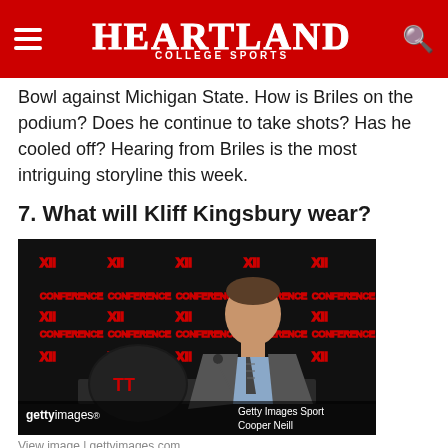Heartland College Sports
Bowl against Michigan State. How is Briles on the podium? Does he continue to take shots? Has he cooled off? Hearing from Briles is the most intriguing storyline this week.
7. What will Kliff Kingsbury wear?
[Figure (photo): Kliff Kingsbury at Big 12 Conference press conference podium wearing a suit and tie, with Big 12 branded backdrop and a Texas Tech football helmet visible in foreground. Getty Images Sport / Cooper Neill]
View image | gettyimages.com
Kingsbury always looks like he just walked off a GQ shoot. What style and outfit does he go for? Maybe you don't care.